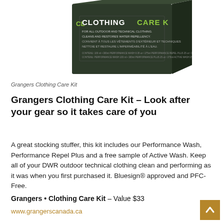[Figure (photo): Grangers Clothing Care Kit product box on white background]
Grangers Clothing Care Kit
Grangers Clothing Care Kit – Look after your gear so it takes care of you
A great stocking stuffer, this kit includes our Performance Wash, Performance Repel Plus and a free sample of Active Wash. Keep all of your DWR outdoor technical clothing clean and performing as it was when you first purchased it. Bluesign® approved and PFC-Free.
Grangers • Clothing Care Kit – Value $33
www.grangerscanada.ca